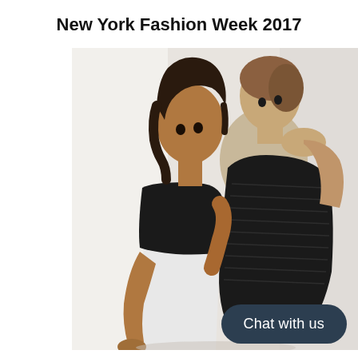New York Fashion Week 2017
[Figure (photo): Two fashion models posing together against a white background. The model on the left wears a black strapless top and white pants; the model on the right wears a black one-shoulder draped outfit.]
Chat with us